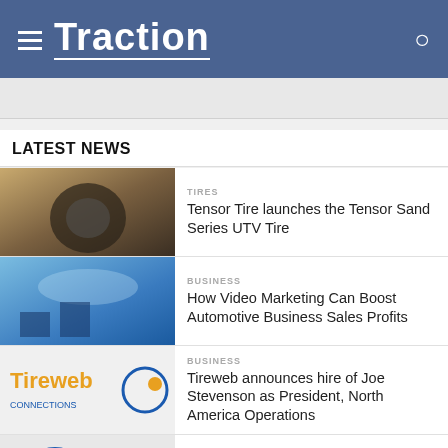Traction
LATEST NEWS
TIRES
Tensor Tire launches the Tensor Sand Series UTV Tire
BUSINESS
How Video Marketing Can Boost Automotive Business Sales Profits
BUSINESS
Tireweb announces hire of Joe Stevenson as President, North America Operations
TIRE INDUSTRY CAREERS
E-Solution Professionals announces new job vacancies
TIRES
Goodyear unveils its first EV replacement